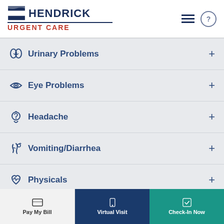[Figure (logo): Hendrick Urgent Care logo with blue flag icon, bold HENDRICK text, and red URGENT CARE subtitle]
Urinary Problems
Eye Problems
Headache
Vomiting/Diarrhea
Physicals
Fever
Pay My Bill | Virtual Visit | Check-In Now